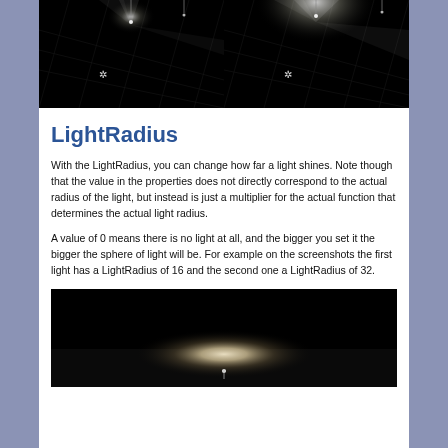[Figure (screenshot): Two side-by-side dark screenshots showing a top-down view of a game scene with a light source. Left image shows a smaller light radius (LightRadius 16), right image shows a larger light radius (LightRadius 32).]
LightRadius
With the LightRadius, you can change how far a light shines. Note though that the value in the properties does not directly correspond to the actual radius of the light, but instead is just a multiplier for the actual function that determines the actual light radius.
A value of 0 means there is no light at all, and the bigger you set it the bigger the sphere of light will be. For example on the screenshots the first light has a LightRadius of 16 and the second one a LightRadius of 32.
[Figure (screenshot): A dark screenshot showing a bright oval/elliptical light glow on a floor surface, viewed from a lower angle, demonstrating the LightRadius effect.]